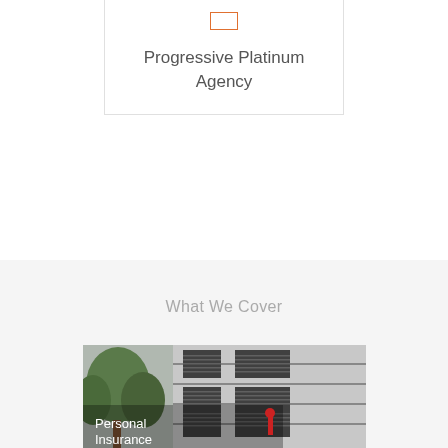Progressive Platinum Agency
What We Cover
[Figure (photo): Building facade photograph with trees, showing a modern commercial building with horizontal window blinds, partially overlaid with text 'Personal Insurance']
Personal Insurance